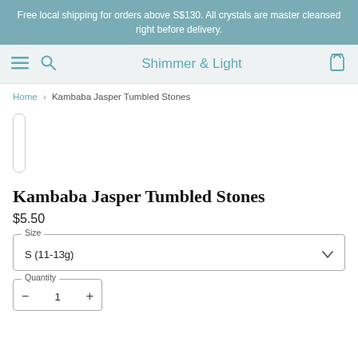Free local shipping for orders above S$130. All crystals are master cleansed right before delivery.
Shimmer & Light
Home › Kambaba Jasper Tumbled Stones
[Figure (other): Product image scroll/thumbnail area with vertical scroll bar indicator on the left side]
Kambaba Jasper Tumbled Stones
$5.50
Size — S (11-13g)
Quantity — 1